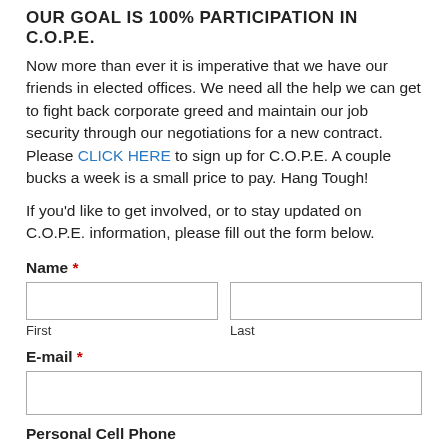OUR GOAL IS 100% PARTICIPATION IN C.O.P.E.
Now more than ever it is imperative that we have our friends in elected offices. We need all the help we can get to fight back corporate greed and maintain our job security through our negotiations for a new contract. Please CLICK HERE to sign up for C.O.P.E. A couple bucks a week is a small price to pay. Hang Tough!
If you’d like to get involved, or to stay updated on C.O.P.E. information, please fill out the form below.
Name *
First
Last
E-mail *
Personal Cell Phone